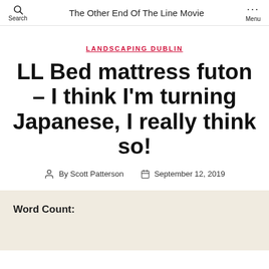Search | The Other End Of The Line Movie | Menu
LANDSCAPING DUBLIN
LL Bed mattress futon – I think I'm turning Japanese, I really think so!
By Scott Patterson  September 12, 2019
Word Count: